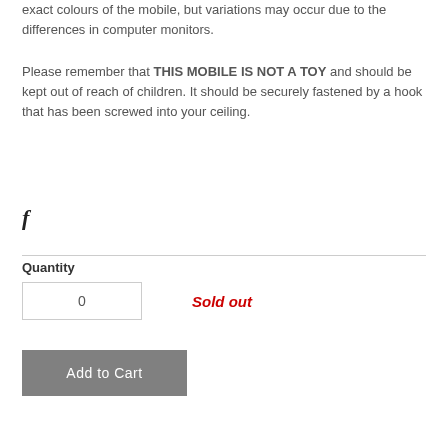exact colours of the mobile, but variations may occur due to the differences in computer monitors.
Please remember that THIS MOBILE IS NOT A TOY and should be kept out of reach of children. It should be securely fastened by a hook that has been screwed into your ceiling.
[Figure (logo): Facebook icon (lowercase f in bold italic serif font)]
Quantity
0
Sold out
Add to Cart